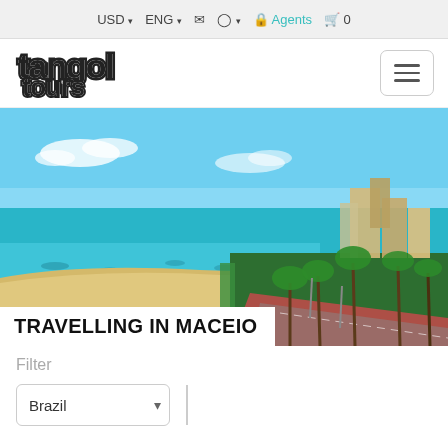USD ▾  ENG ▾  ✉  ⚇ ▾  🔒 Agents  🛒 0
[Figure (logo): Tangol Tours logo with bold bubbly letters in black and white]
[Figure (photo): Aerial view of Maceio, Brazil beachfront with turquoise ocean, sandy beach, palm trees, and coastal road with buildings]
TRAVELLING IN MACEIO
Filter
Brazil